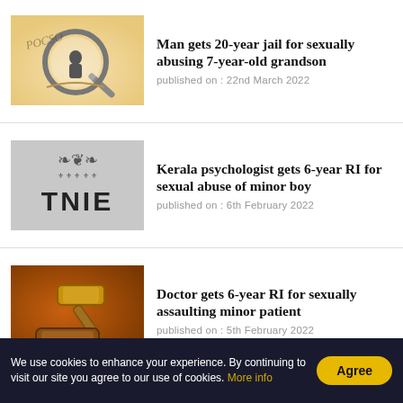[Figure (illustration): Thumbnail image with magnifying glass and figure, POCSO text visible]
Man gets 20-year jail for sexually abusing 7-year-old grandson
published on : 22nd March 2022
[Figure (logo): TNIE logo on grey background]
Kerala psychologist gets 6-year RI for sexual abuse of minor boy
published on : 6th February 2022
[Figure (photo): Photo of a judge's gavel on brown surface]
Doctor gets 6-year RI for sexually assaulting minor patient
published on : 5th February 2022
We use cookies to enhance your experience. By continuing to visit our site you agree to our use of cookies. More info